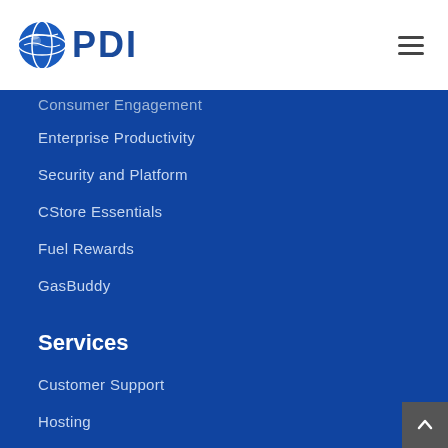[Figure (logo): PDI globe logo with blue globe icon and PDI text in dark blue]
[Figure (other): Hamburger menu icon (three horizontal lines)]
Consumer Engagement
Enterprise Productivity
Security and Platform
CStore Essentials
Fuel Rewards
GasBuddy
Services
Customer Support
Hosting
Outsourcing